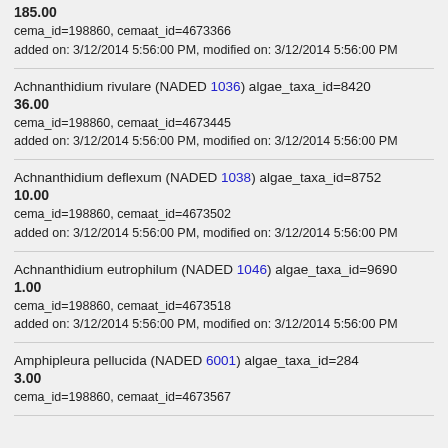185.00
cema_id=198860, cemaat_id=4673366
added on: 3/12/2014 5:56:00 PM, modified on: 3/12/2014 5:56:00 PM
Achnanthidium rivulare (NADED 1036) algae_taxa_id=8420
36.00
cema_id=198860, cemaat_id=4673445
added on: 3/12/2014 5:56:00 PM, modified on: 3/12/2014 5:56:00 PM
Achnanthidium deflexum (NADED 1038) algae_taxa_id=8752
10.00
cema_id=198860, cemaat_id=4673502
added on: 3/12/2014 5:56:00 PM, modified on: 3/12/2014 5:56:00 PM
Achnanthidium eutrophilum (NADED 1046) algae_taxa_id=9690
1.00
cema_id=198860, cemaat_id=4673518
added on: 3/12/2014 5:56:00 PM, modified on: 3/12/2014 5:56:00 PM
Amphipleura pellucida (NADED 6001) algae_taxa_id=284
3.00
cema_id=198860, cemaat_id=4673567